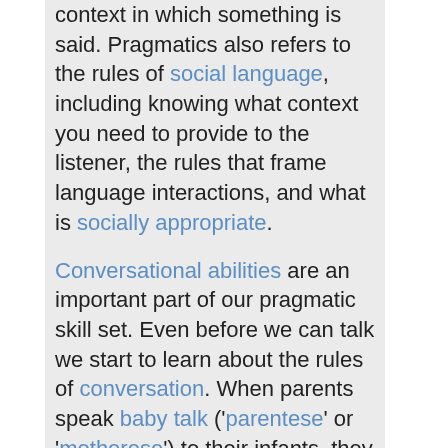context in which something is said. Pragmatics also refers to the rules of social language, including knowing what context you need to provide to the listener, the rules that frame language interactions, and what is socially appropriate.
Conversational abilities are an important part of our pragmatic skill set. Even before we can talk we start to learn about the rules of conversation. When parents speak baby talk ('parentese' or 'motherese') to their infants, they do so in a very structured way. They use exaggerated pitch changes, to engage the infant's interest and highlight that 'these sounds that I'm